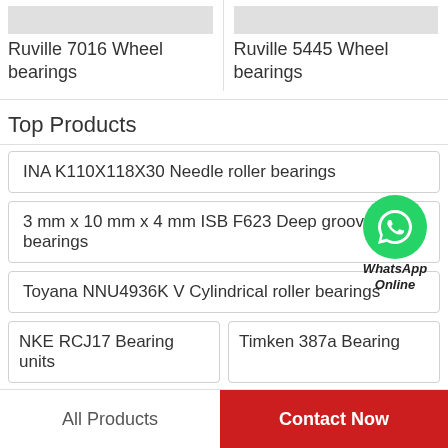Ruville 7016 Wheel bearings
Ruville 5445 Wheel bearings
Top Products
INA K110X118X30 Needle roller bearings
3 mm x 10 mm x 4 mm ISB F623 Deep groove ball bearings
Toyana NNU4936K V Cylindrical roller bearings
NKE RCJ17 Bearing units
Timken 387a Bearing
All Products
Contact Now